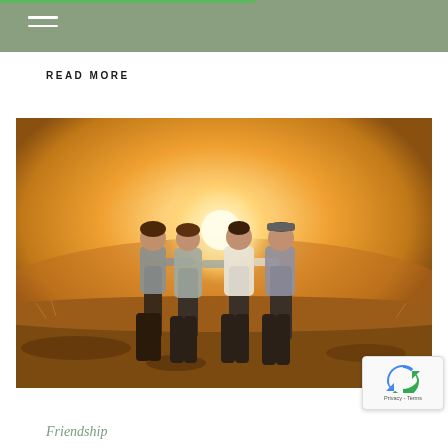READ MORE
[Figure (photo): Four friends standing together with arms around each other, viewed from behind, silhouetted against a warm golden sunset in an open field or hillside landscape.]
[Figure (other): reCAPTCHA badge with arrow icon and Privacy - Terms text]
Friendship